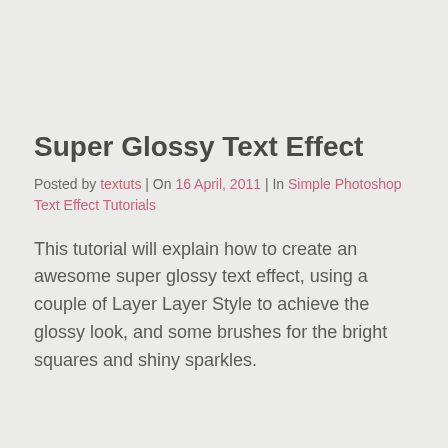Super Glossy Text Effect
Posted by textuts | On 16 April, 2011 | In Simple Photoshop Text Effect Tutorials
This tutorial will explain how to create an awesome super glossy text effect, using a couple of Layer Layer Style to achieve the glossy look, and some brushes for the bright squares and shiny sparkles.